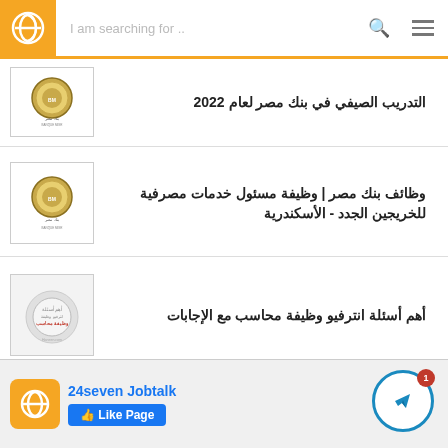24seven Jobtalk - I am searching for...
التدريب الصيفي في بنك مصر لعام 2022
وظائف بنك مصر | وظيفة مسئول خدمات مصرفية للخريجين الجدد - الأسكندرية
أهم أسئلة انترفيو وظيفة محاسب مع الإجابات
View all recent opportunities ›
24seven Jobtalk — Like Page